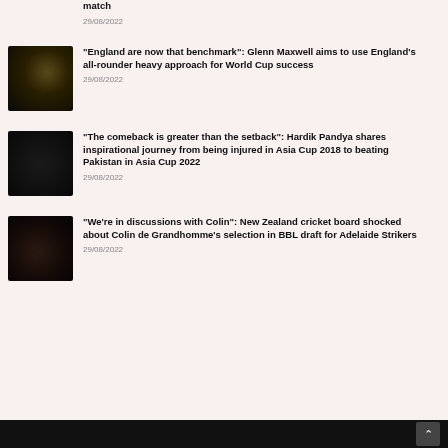match
29/08/2022
[Figure (photo): Blurred thumbnail image for Glenn Maxwell article]
"England are now that benchmark": Glenn Maxwell aims to use England's all-rounder heavy approach for World Cup success
29/08/2022
[Figure (photo): Blurred dark thumbnail image for Hardik Pandya article]
"The comeback is greater than the setback": Hardik Pandya shares inspirational journey from being injured in Asia Cup 2018 to beating Pakistan in Asia Cup 2022
29/08/2022
[Figure (photo): Blurred thumbnail image for Colin de Grandhomme article]
"We're in discussions with Colin": New Zealand cricket board shocked about Colin de Grandhomme's selection in BBL draft for Adelaide Strikers
29/08/2022